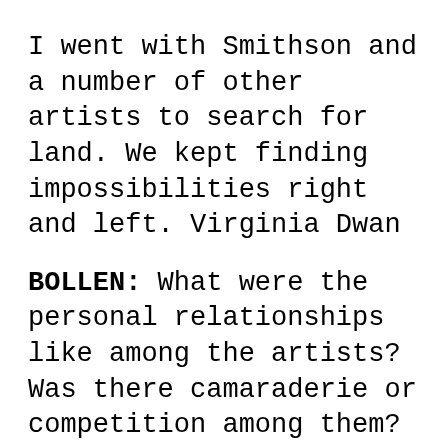I went with Smithson and a number of other artists to search for land. We kept finding impossibilities right and left. Virginia Dwan
BOLLEN: What were the personal relationships like among the artists? Was there camaraderie or competition among them?
DWAN: They all got along very well at times and very poorly at other times. There was competition. But at other times they enjoyed sharing their thoughts. Heizer and De Maria, before